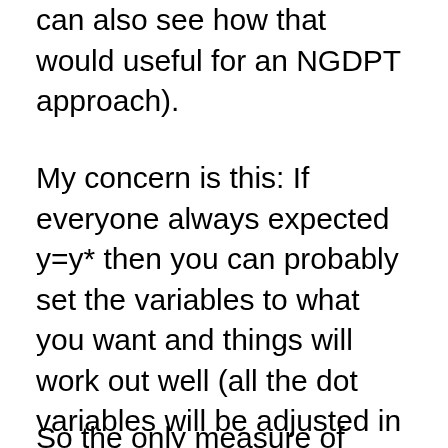can also see how that would useful for an NGDPT approach).
My concern is this: If everyone always expected y=y* then you can probably set the variables to what you want and things will work out well (all the dot variables will be adjusted in the future to compensate for any that set "wrong" in the present. But probably if r, g and t were all set to crazy values then people would stop expecting y=y* and y would stop being = y*!
So the only measure of what the "right" values for the...